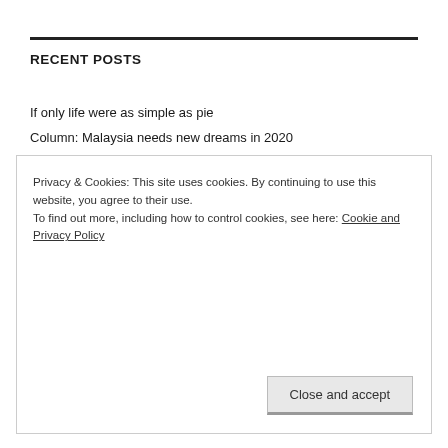RECENT POSTS
If only life were as simple as pie
Column: Malaysia needs new dreams in 2020
Privacy & Cookies: This site uses cookies. By continuing to use this website, you agree to their use. To find out more, including how to control cookies, see here: Cookie and Privacy Policy
Close and accept